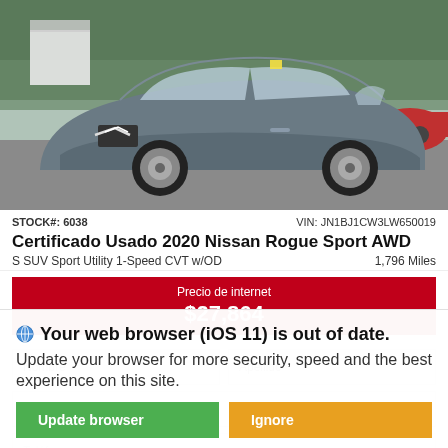[Figure (photo): Gray 2020 Nissan Rogue Sport AWD photographed outdoors in a dealership lot with other cars and trees in the background.]
STOCK#: 6038    VIN: JN1BJ1CW3LW650019
Certificado Usado 2020 Nissan Rogue Sport AWD
S SUV Sport Utility 1-Speed CVT w/OD    1,796 Miles
Precio de internet
$27,864
Nombre    Apellido
*Email
Teléfono
Método de Contacto Preferido
🌐 Your web browser (iOS 11) is out of date.
Update your browser for more security, speed and the best experience on this site.
Update browser    Ignore